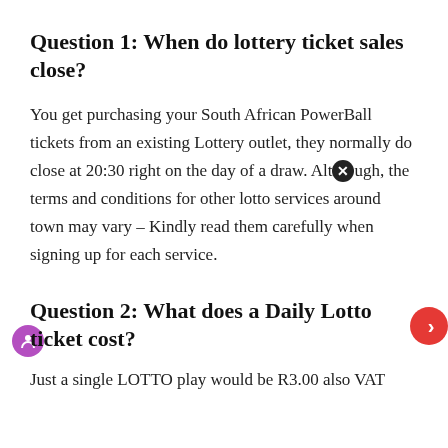Question 1: When do lottery ticket sales close?
You get purchasing your South African PowerBall tickets from an existing Lottery outlet, they normally do close at 20:30 right on the day of a draw. Although, the terms and conditions for other lotto services around town may vary – Kindly read them carefully when signing up for each service.
Question 2: What does a Daily Lotto ticket cost?
Just a single LOTTO play would be R3.00 also VAT